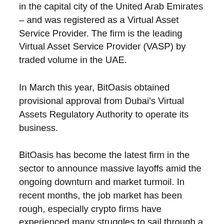in the capital city of the United Arab Emirates – and was registered as a Virtual Asset Service Provider. The firm is the leading Virtual Asset Service Provider (VASP) by traded volume in the UAE.
In March this year, BitOasis obtained provisional approval from Dubai's Virtual Assets Regulatory Authority to operate its business.
BitOasis has become the latest firm in the sector to announce massive layoffs amid the ongoing downturn and market turmoil. In recent months, the job market has been rough, especially crypto firms have experienced many struggles to sail through a winter that has witnessed prices plunge drastically.
Overall economic inflation and staked Ethereum have contributed to the latest crash while lending platform Celsius Network pointed to have triggered the mess